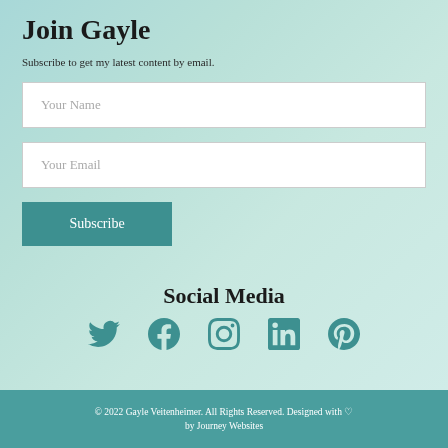Join Gayle
Subscribe to get my latest content by email.
Your Name
Your Email
Subscribe
Social Media
[Figure (illustration): Social media icons: Twitter, Facebook, Instagram, LinkedIn, Pinterest]
© 2022 Gayle Veitenheimer. All Rights Reserved. Designed with ♡ by Journey Websites